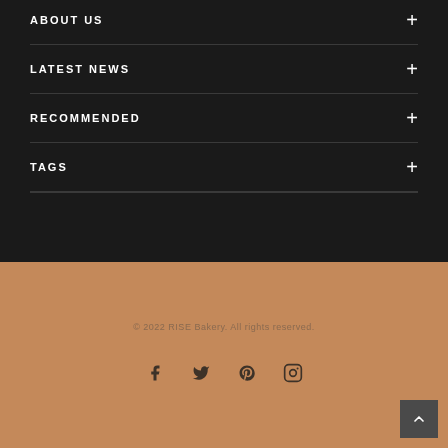ABOUT US
LATEST NEWS
RECOMMENDED
TAGS
© 2022 RISE Bakery. All rights reserved.
[Figure (other): Social media icons: Facebook, Twitter, Pinterest, Instagram]
[Figure (other): Back to top button with upward chevron arrow]